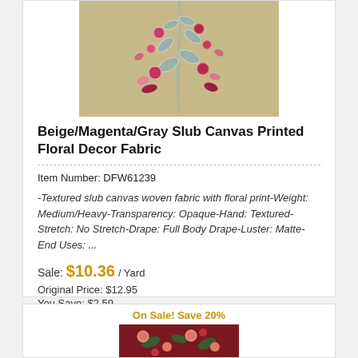[Figure (photo): Beige/Magenta/Gray floral printed slub canvas fabric swatch showing floral botanical print on tan/beige background]
Beige/Magenta/Gray Slub Canvas Printed Floral Decor Fabric
Item Number: DFW61239
-Textured slub canvas woven fabric with floral print-Weight: Medium/Heavy-Transparency: Opaque-Hand: Textured-Stretch: No Stretch-Drape: Full Body Drape-Luster: Matte-End Uses: ...
Sale: $10.36 / Yard
Original Price: $12.95
You Save: $2.59
On Sale! Save 20%
[Figure (photo): Dark red/burgundy floral printed fabric swatch showing botanical floral pattern in red and green tones]